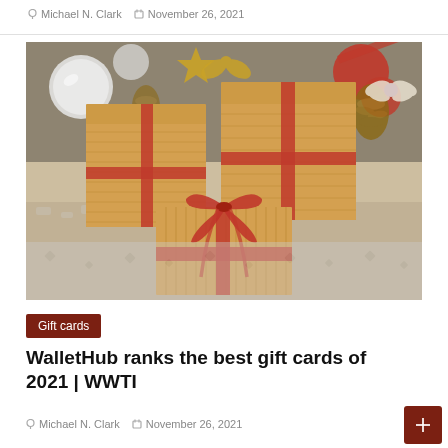Michael N. Clark  November 26, 2021
[Figure (photo): Three kraft paper gift boxes wrapped with red twine/ribbon, arranged on a knitted blanket with Christmas ornaments in the background including pine cones, red and gold balls, and decorative bows.]
Gift cards
WalletHub ranks the best gift cards of 2021 | WWTI
Michael N. Clark  November 26, 2021